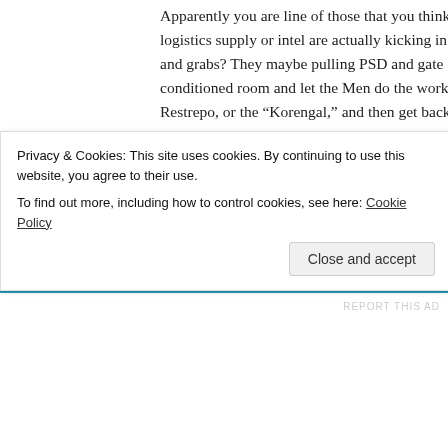Apparently you are line of those that you think logistics supply or intel are actually kicking in and grabs? They maybe pulling PSD and gate conditioned room and let the Men do the work Restrepo, or the “Korengal,” and then get back
★ Like
11B382B says:
April 3, 2015 at 08:04
LOL who do you think gets intel? It’s not an M intel and gives it to S2 dildo. The only intel I o on mission or someone piloting a UAV.
Privacy & Cookies: This site uses cookies. By continuing to use this website, you agree to their use.
To find out more, including how to control cookies, see here: Cookie Policy
Close and accept